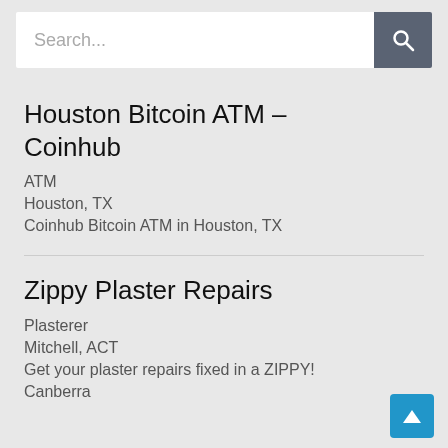[Figure (screenshot): Search bar with placeholder text 'Search...' and a dark grey search button with magnifying glass icon]
Houston Bitcoin ATM – Coinhub
ATM
Houston, TX
Coinhub Bitcoin ATM in Houston, TX
Zippy Plaster Repairs
Plasterer
Mitchell, ACT
Get your plaster repairs fixed in a ZIPPY!
Canberra